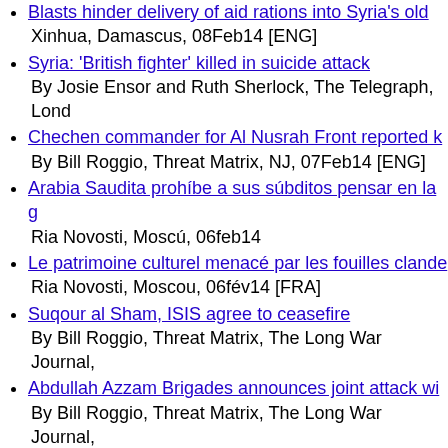Blasts hinder delivery of aid rations into Syria's old…
Xinhua, Damascus, 08Feb14 [ENG]
Syria: 'British fighter' killed in suicide attack
By Josie Ensor and Ruth Sherlock, The Telegraph, Lond…
Chechen commander for Al Nusrah Front reported k…
By Bill Roggio, Threat Matrix, NJ, 07Feb14 [ENG]
Arabia Saudita prohíbe a sus súbditos pensar en la g…
Ria Novosti, Moscú, 06feb14
Le patrimoine culturel menacé par les fouilles cland…
Ria Novosti, Moscou, 06fév14 [FRA]
Suqour al Sham, ISIS agree to ceasefire
By Bill Roggio, Threat Matrix, The Long War Journal, …
Abdullah Azzam Brigades announces joint attack wi…
By Bill Roggio, Threat Matrix, The Long War Journal, …
Al Qaeda's general command disowns the Islamic St…
By Thomas Joscelyn, The Long War Journal, NJ, 03Feb…
Pro-al Qaeda Saudi cleric calls on ISIS members to d…
By Thomas Joscelyn, The Long War Journal, NJ, 03Feb…
Al Nusrah Front launches another suicide attack in L…
By Bill Roggio, The Long War Journal, NJ, 02Feb14 [E…
Indonesian Militants Join Foreigners Fighting in Syr…
By Joe Cochrane, The New York Times, 31Jan14 [ENG]
Report: Senior al Qaeda facilitator 'back on the stree…
By Thomas Joscelyn, The Long War… 31Jan…
EEUU estima en 26.000 el número de extremistas qu…
Ria Novosti, Washington, 29…